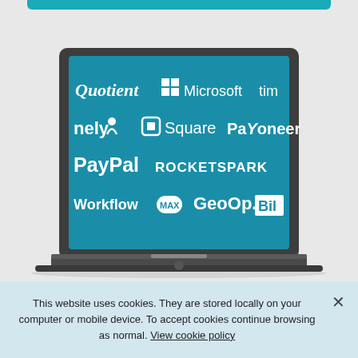[Figure (illustration): A laptop computer with a teal/blue screen displaying logos of various companies: Quotient, Microsoft, tim..., nely, Square, Payoneer, PayPal, ROCKETSPARK, WorkflowMAX, GeoOp., Bill]
This website uses cookies. They are stored locally on your computer or mobile device. To accept cookies continue browsing as normal. View cookie policy